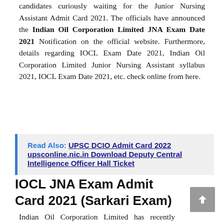candidates curiously waiting for the Junior Nursing Assistant Admit Card 2021. The officials have announced the Indian Oil Corporation Limited JNA Exam Date 2021 Notification on the official website. Furthermore, details regarding IOCL Exam Date 2021, Indian Oil Corporation Limited Junior Nursing Assistant syllabus 2021, IOCL Exam Date 2021, etc. check online from here.
Read Also: UPSC DCIO Admit Card 2022 upsconline.nic.in Download Deputy Central Intelligence Officer Hall Ticket
IOCL JNA Exam Admit Card 2021 (Sarkari Exam)
Indian Oil Corporation Limited has recently